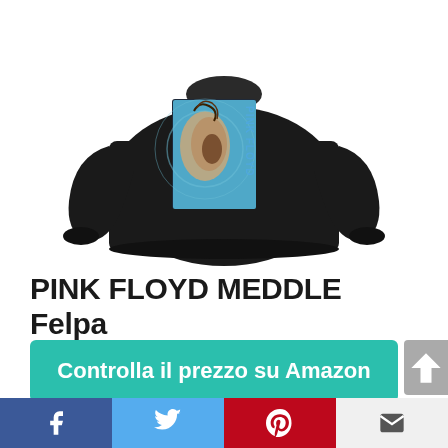[Figure (photo): Black sweatshirt / felpa with a Pink Floyd Meddle album artwork graphic on the front chest area. The graphic shows the iconic Meddle ear underwater image in blue tones with 'PINK FLOYD' text vertically on the right side.]
PINK FLOYD MEDDLE Felpa
Controlla il prezzo su Amazon
Amazon.it